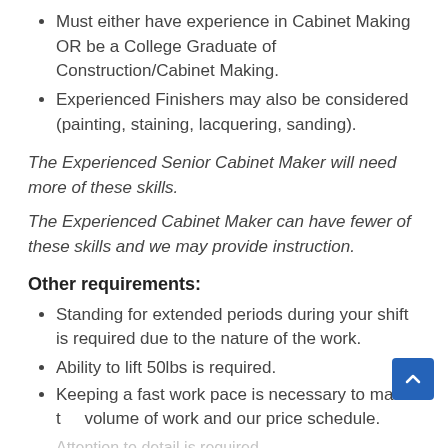Must either have experience in Cabinet Making OR be a College Graduate of Construction/Cabinet Making.
Experienced Finishers may also be considered (painting, staining, lacquering, sanding).
The Experienced Senior Cabinet Maker will need more of these skills.
The Experienced Cabinet Maker can have fewer of these skills and we may provide instruction.
Other requirements:
Standing for extended periods during your shift is required due to the nature of the work.
Ability to lift 50lbs is required.
Keeping a fast work pace is necessary to match the volume of work and our price schedule.
Attention to detail is required...